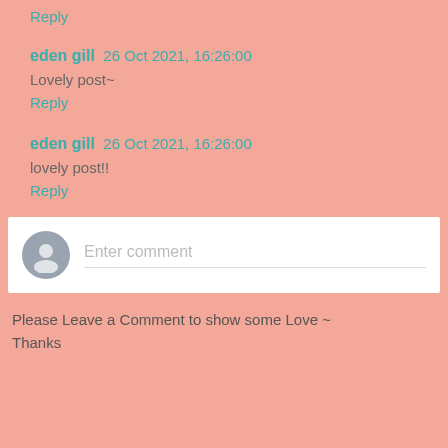Reply
eden gill  26 Oct 2021, 16:26:00
Lovely post~
Reply
eden gill  26 Oct 2021, 16:26:00
lovely post!!
Reply
[Figure (other): Comment input box with user avatar and placeholder text 'Enter comment']
Please Leave a Comment to show some Love ~ Thanks